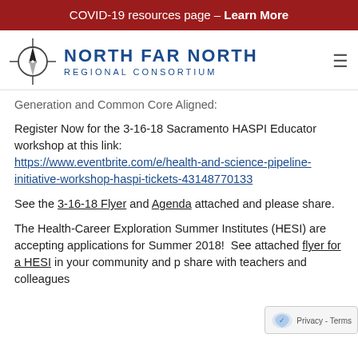COVID-19 resources page – Learn More
[Figure (logo): North Far North Regional Consortium logo with compass icon and text]
Generation and Common Core Aligned:
Register Now for the 3-16-18 Sacramento HASPI Educator workshop at this link: https://www.eventbrite.com/e/health-and-science-pipeline-initiative-workshop-haspi-tickets-43148770133
See the 3-16-18 Flyer and Agenda attached and please share.
The Health-Career Exploration Summer Institutes (HESI) are accepting applications for Summer 2018! See attached flyer for a HESI in your community and p share with teachers and colleagues